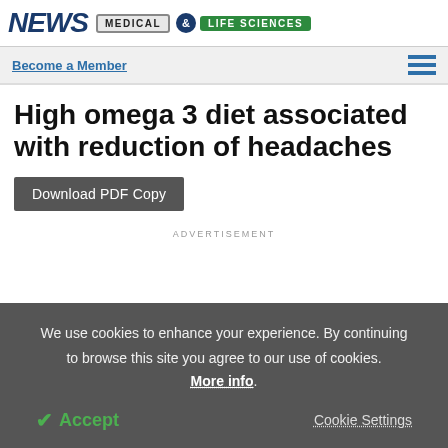NEWS MEDICAL & LIFE SCIENCES
Become a Member
High omega 3 diet associated with reduction of headaches
Download PDF Copy
ADVERTISEMENT
We use cookies to enhance your experience. By continuing to browse this site you agree to our use of cookies. More info.
Accept   Cookie Settings